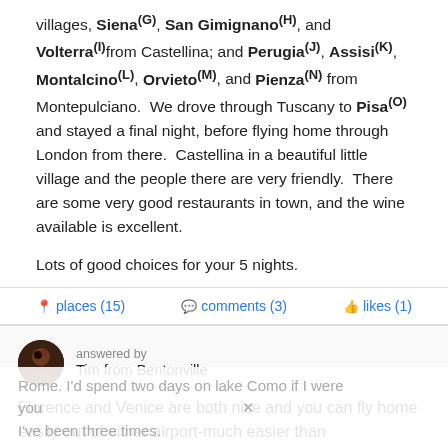villages, Siena(G), San Gimignano(H), and Volterra(I) from Castellina; and Perugia(J), Assisi(K), Montalcino(L), Orvieto(M), and Pienza(N) from Montepulciano. We drove through Tuscany to Pisa(O) and stayed a final night, before flying home through London from there. Castellina in a beautiful little village and the people there are very friendly. There are some very good restaurants in town, and the wine available is excellent.
Lots of good choices for your 5 nights.
places (15)   comments (3)   likes (1)
answered by Tim from Bentonville
Florence and Venice are both nice and you can fly home easily out of either airport-much easier than
Rome. I'd spend two days on lake Como if I were you I've been three times.